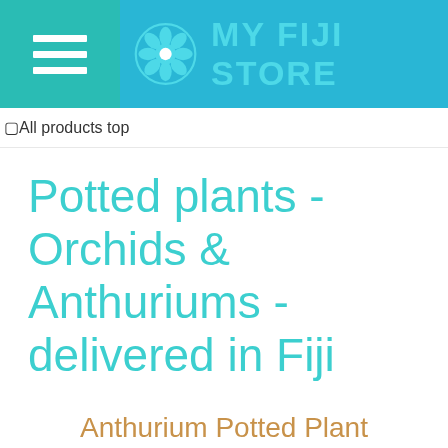MY FIJI STORE
[Figure (screenshot): All products top banner placeholder image]
Potted plants - Orchids & Anthuriums - delivered in Fiji
Anthurium Potted Plant
$35.90